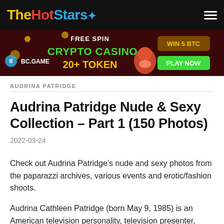TheHotStars
[Figure (infographic): BC.GAME crypto casino advertisement banner: FREE SPIN, CRYPTO CASINO, 20+ TOKEN, WIN 5 BTC, PLAY NOW]
AUDRINA PATRIDGE
Audrina Patridge Nude & Sexy Collection – Part 1 (150 Photos)
2022-03-24
Check out Audrina Patridge's nude and sexy photos from the paparazzi archives, various events and erotic/fashion shoots.
Audrina Cathleen Patridge (born May 9, 1985) is an American television personality, television presenter, actress, and model.